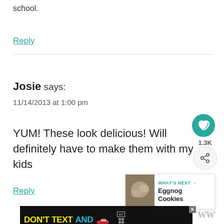school.
Reply
Josie says:
11/14/2013 at 1:00 pm
YUM! These look delicious! Will definitely have to make them with my kids
Reply
[Figure (infographic): DON'T TEXT AND [car emoji] advertisement banner with NHTSA logo and ad label]
[Figure (infographic): What's Next arrow box showing Eggnog Cookies with a thumbnail image]